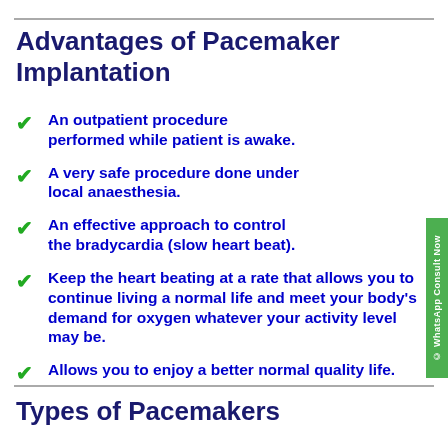Advantages of Pacemaker Implantation
An outpatient procedure performed while patient is awake.
A very safe procedure done under local anaesthesia.
An effective approach to control the bradycardia (slow heart beat).
Keep the heart beating at a rate that allows you to continue living a normal life and meet your body's demand for oxygen whatever your activity level may be.
Allows you to enjoy a better normal quality life.
Types of Pacemakers